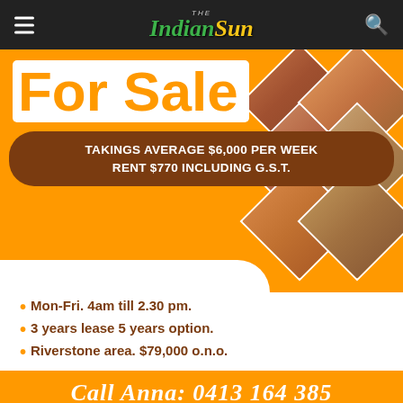The Indian Sun
For Sale
TAKINGS AVERAGE $6,000 PER WEEK RENT $770 INCLUDING G.S.T.
[Figure (photo): Food photos arranged in diamond/rhombus grid pattern on orange background]
Mon-Fri. 4am till 2.30 pm.
3 years lease 5 years option.
Riverstone area. $79,000 o.n.o.
Call Anna: 0413 164 385
We use cookies to enhance your experience. By continuing to visit this site you agree to our use of cookies. More info